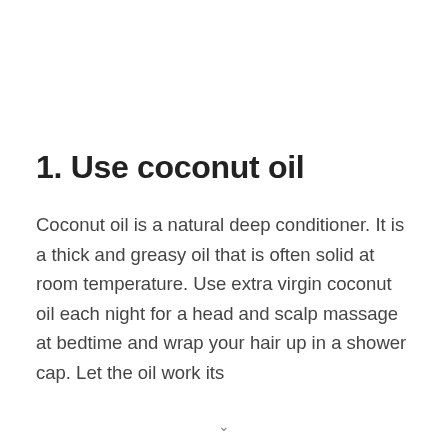1. Use coconut oil
Coconut oil is a natural deep conditioner. It is a thick and greasy oil that is often solid at room temperature. Use extra virgin coconut oil each night for a head and scalp massage at bedtime and wrap your hair up in a shower cap. Let the oil work its